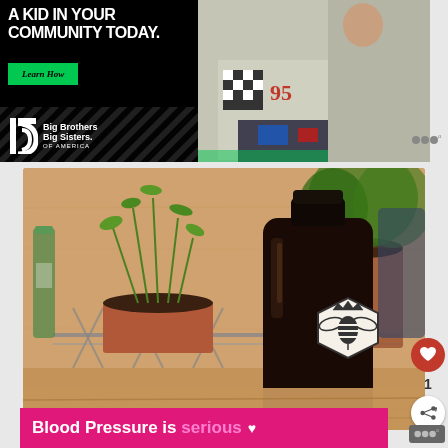[Figure (photo): Big Brothers Big Sisters of America advertisement banner. Left half shows black background with white text 'A KID IN YOUR COMMUNITY TODAY.' and a green 'Learn How' button with BBBS logo. Right half shows a photo of an adult and child working on a robotics project, child wearing a racing jersey with number 95.]
[Figure (photo): Photo of a dark glass bottle with a bee/insect logo sticker on a wire rack shelf, with potted plants in terracotta pots in the background on a wooden surface.]
Blood Pressure is serious
Blood pressure health awareness advertisement banner in pink/magenta color